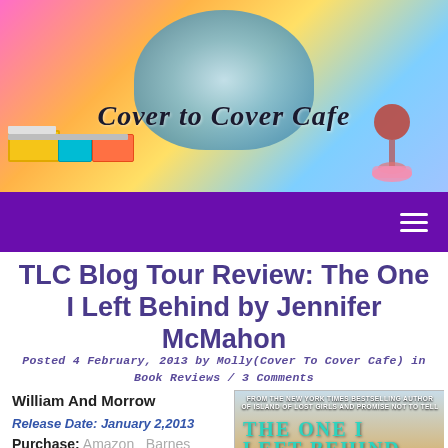[Figure (logo): Cover to Cover Cafe blog header banner with colorful gradient background, decorative skull with butterflies, books, wine glass, and handwritten logo text]
[Figure (screenshot): Purple navigation bar with hamburger menu icon on the right]
TLC Blog Tour Review: The One I Left Behind by Jennifer McMahon
Posted 4 February, 2013 by Molly(Cover To Cover Cafe) in Book Reviews / 3 Comments
William And Morrow
Release Date: January 2,2013
Purchase: Amazon Barnes And Noble
[Figure (photo): Book cover of 'The One I Left Behind' by Jennifer McMahon showing a close-up of a woman's eye with teal title text overlay]